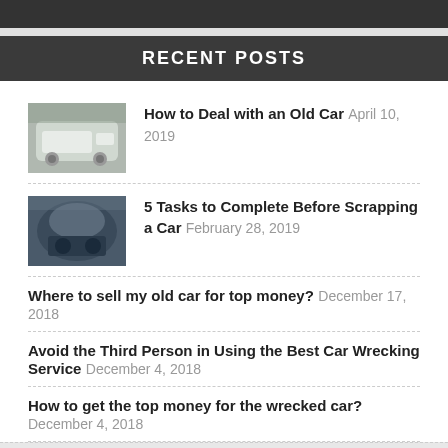RECENT POSTS
How to Deal with an Old Car April 10, 2019
5 Tasks to Complete Before Scrapping a Car February 28, 2019
Where to sell my old car for top money? December 17, 2018
Avoid the Third Person in Using the Best Car Wrecking Service December 4, 2018
How to get the top money for the wrecked car? December 4, 2018
We're offline
Leave a message